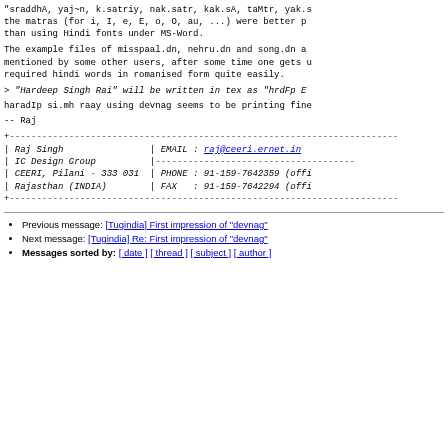"sraddhA, yaj~n, k.satriy, nak.satr, kak.sA, taMtr, yak.s the matras (for i, I, e, E, o, O, au, ...) were better p than using Hindi fonts under MS-Word.
The example files of misspaal.dn, nehru.dn and song.dn a mentioned by some other users, after some time one gets u required hindi words in romanised form quite easily.
> "Hardeep Singh Rai" will be written in tex as "hrdFp E
haradIp si.mh raay using devnag seems to be printing fine
-- Raj
| Raj Singh | EMAIL : raj@ceeri.ernet.in |
| IC Design Group |  |
| CEERI, Pilani - 333 031 | PHONE : 91-159-7642359 (offi |
| Rajasthan (INDIA) | FAX   : 91-159-7642294 (offi |
Previous message: [Tugindia] First impression of "devnag"
Next message: [Tugindia] Re: First impression of "devnag"
Messages sorted by: [ date ] [ thread ] [ subject ] [ author ]